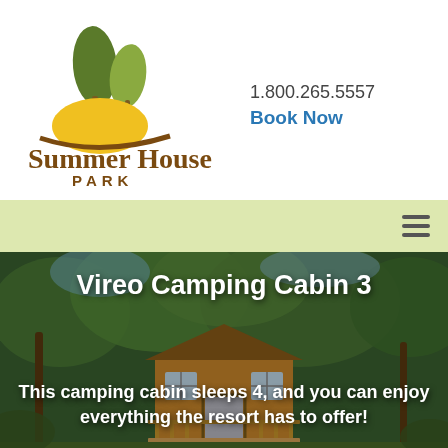[Figure (logo): Summer House Park logo: two stylized green trees over a yellow sun/hill with brown curved ground line]
1.800.265.5557
Book Now
[Figure (other): Light olive/yellow-green navigation bar with hamburger menu icon on the right]
[Figure (photo): Outdoor photo of a small wooden camping cabin surrounded by green trees and forest foliage]
Vireo Camping Cabin 3
This camping cabin sleeps 4, and you can enjoy everything the resort has to offer!